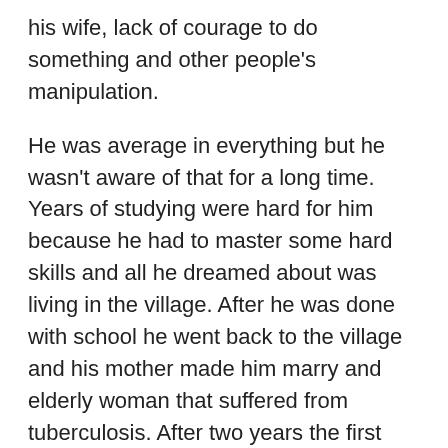his wife, lack of courage to do something and other people's manipulation.
He was average in everything but he wasn't aware of that for a long time. Years of studying were hard for him because he had to master some hard skills and all he dreamed about was living in the village. After he was done with school he went back to the village and his mother made him marry and elderly woman that suffered from tuberculosis. After two years the first wife died and then he met Emma.
Charles wasn't a bad person because as a husband and doctor he tried to be good. Despite his honesty and good intentions he was one of